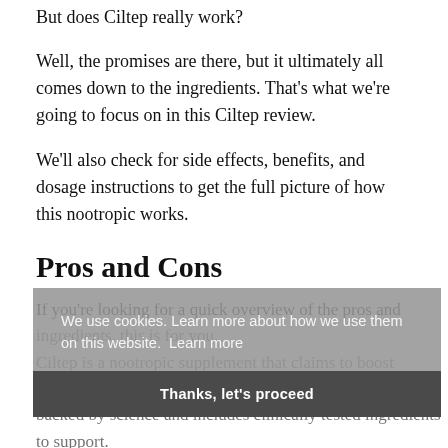But does Ciltep really work?
Well, the promises are there, but it ultimately all comes down to the ingredients. That's what we're going to focus on in this Ciltep review.
We'll also check for side effects, benefits, and dosage instructions to get the full picture of how this nootropic works.
Pros and Cons
[Partially obscured text] ...and ... . ...o is ... ...port.
[Figure (screenshot): Cookie consent banner overlay with gray background. Text reads: 'We use cookies. Learn more about how we use them on this website. Learn more'. Below is a darker gray button area with text 'Thanks, let's proceed'.]